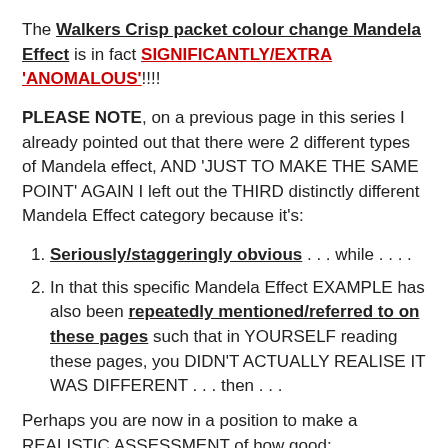The Walkers Crisp packet colour change Mandela Effect is in fact SIGNIFICANTLY/EXTRA 'ANOMALOUS'!!!!
PLEASE NOTE, on a previous page in this series I already pointed out that there were 2 different types of Mandela effect, AND 'JUST TO MAKE THE SAME POINT' AGAIN I left out the THIRD distinctly different Mandela Effect category because it's:
Seriously/staggeringly obvious . . . while . . . .
In that this specific Mandela Effect EXAMPLE has also been repeatedly mentioned/referred to on these pages such that in YOURSELF reading these pages, you DIDN'T ACTUALLY REALISE IT WAS DIFFERENT . . . then . . .
Perhaps you are now in a position to make a REALISTIC ASSESSMENT of how good:
Your observational abilities actually are . . . and